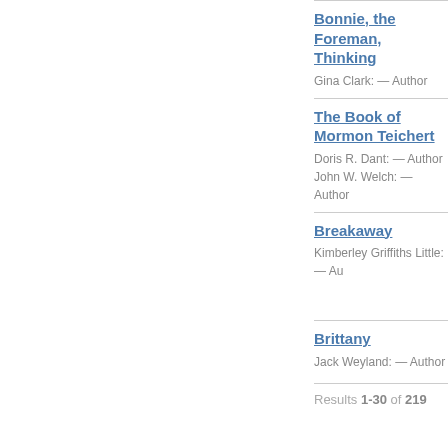Bonnie, the Foreman, Thinking
Gina Clark: — Author
The Book of Mormon Teichert
Doris R. Dant: — Author
John W. Welch: — Author
Breakaway
Kimberley Griffiths Little: — Au
Brittany
Jack Weyland: — Author
Results 1-30 of 219